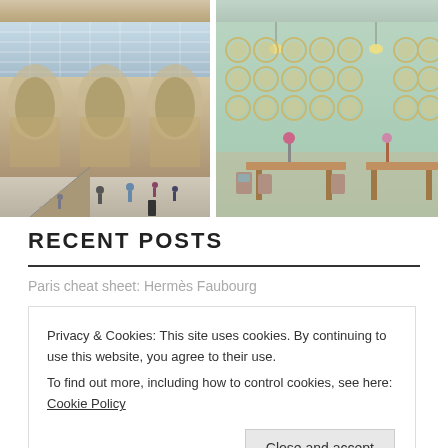[Figure (photo): Top strip of two photos partially visible at top of page — left: museum interior, right: cafe/restaurant interior]
[Figure (photo): Left photo: grand museum interior (Natural History Museum style) with ornate arched architecture, large windows, grand staircase, and visitors walking around.]
[Figure (photo): Right photo: cafe or restaurant interior with mint green walls, decorative circular plates/mirrors on wall, wooden tables and chairs, pink flowers in vases, warm pendant lights.]
RECENT POSTS
Paris cheat sheet: Hermès Faubourg
Privacy & Cookies: This site uses cookies. By continuing to use this website, you agree to their use.
To find out more, including how to control cookies, see here: Cookie Policy
Close and accept